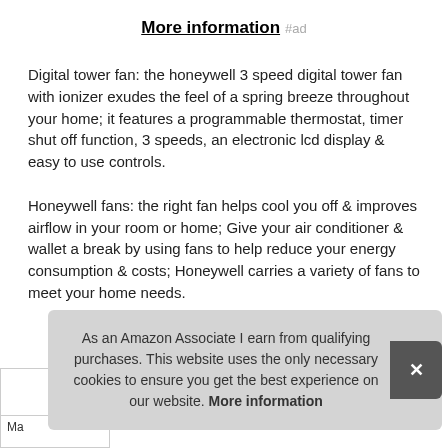More information #ad
Digital tower fan: the honeywell 3 speed digital tower fan with ionizer exudes the feel of a spring breeze throughout your home; it features a programmable thermostat, timer shut off function, 3 speeds, an electronic lcd display & easy to use controls.
Honeywell fans: the right fan helps cool you off & improves airflow in your room or home; Give your air conditioner & wallet a break by using fans to help reduce your energy consumption & costs; Honeywell carries a variety of fans to meet your home needs.
As an Amazon Associate I earn from qualifying purchases. This website uses the only necessary cookies to ensure you get the best experience on our website. More information